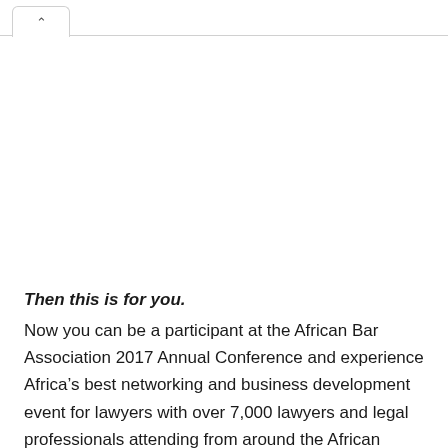^
Then this is for you. Now you can be a participant at the African Bar Association 2017 Annual Conference and experience Africa’s best networking and business development event for lawyers with over 7,000 lawyers and legal professionals attending from around the African Continent.